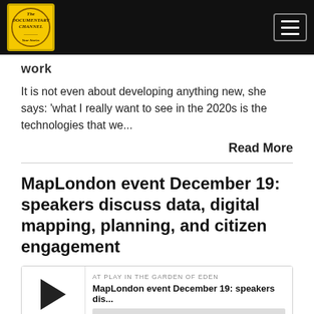The Documentary Channel
work
It is not even about developing anything new, she says: 'what I really want to see in the 2020s is the technologies that we...
Read More
MapLondon event December 19: speakers discuss data, digital mapping, planning, and citizen engagement
[Figure (other): Podcast player widget showing 'AT PLAY IN THE GARDEN OF EDEN' label, episode title 'MapLondon event December 19: speakers dis...', progress bar, timestamp 00:00:00, and playback controls including RSS, download, embed, and headphone icons]
Jan 18, 2020
A wide range of professionals from the world of planning and